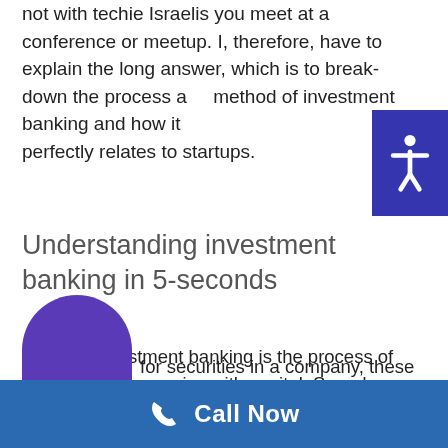not with techie Israelis you meet at a conference or meetup. I, therefore, have to explain the long answer, which is to break-down the process and method of investment banking and how it perfectly relates to startups.
Understanding investment banking in 5-seconds
In short, investment banking is the process of connecting companies with capital. Sounds simple, right? It's not. Investment banking firms offer a wide variety of services that, in the end, culminate in exchanging money from an [investor] for securities in a company, these
[Figure (other): Blue square accessibility icon with white human figure with arms outstretched]
Call Now